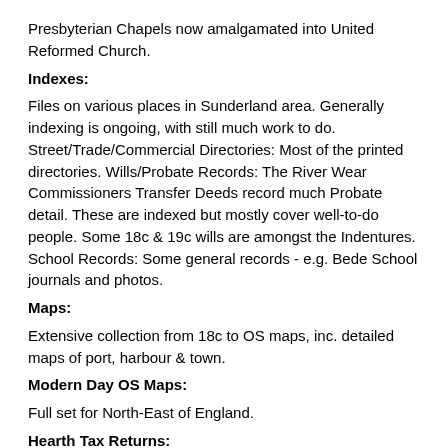Presbyterian Chapels now amalgamated into United Reformed Church.
Indexes:
Files on various places in Sunderland area. Generally indexing is ongoing, with still much work to do. Street/Trade/Commercial Directories: Most of the printed directories. Wills/Probate Records: The River Wear Commissioners Transfer Deeds record much Probate detail. These are indexed but mostly cover well-to-do people. Some 18c & 19c wills are amongst the Indentures. School Records: Some general records - e.g. Bede School journals and photos.
Maps:
Extensive collection from 18c to OS maps, inc. detailed maps of port, harbour & town.
Modern Day OS Maps:
Full set for North-East of England.
Hearth Tax Returns:
For Sunderland.